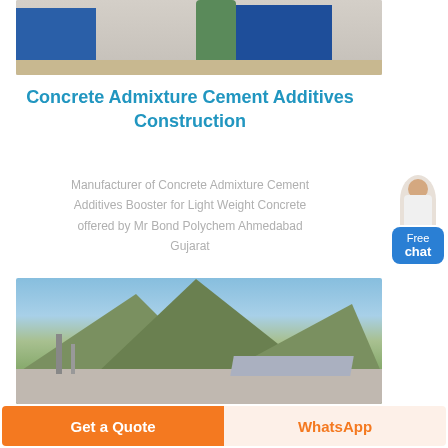[Figure (photo): Factory exterior with blue containers and green silo]
Concrete Admixture Cement Additives Construction
Manufacturer of Concrete Admixture Cement Additives Booster for Light Weight Concrete offered by Mr Bond Polychem Ahmedabad Gujarat
[Figure (photo): Industrial facility with mountains in background and piping/solar panels in foreground]
Get a Quote
WhatsApp